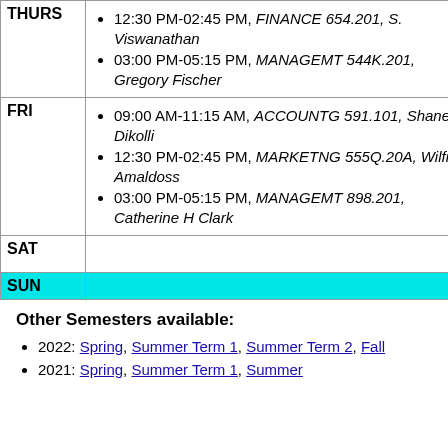| Day | Schedule |
| --- | --- |
| THURS | 12:30 PM-02:45 PM, FINANCE 654.201, S. Viswanathan | 03:00 PM-05:15 PM, MANAGEMT 544K.201, Gregory Fischer |
| FRI | 09:00 AM-11:15 AM, ACCOUNTG 591.101, Shane Dikolli | 12:30 PM-02:45 PM, MARKETNG 555Q.20A, Wilfred Amaldoss | 03:00 PM-05:15 PM, MANAGEMT 898.201, Catherine H Clark |
| SAT |  |
| SUN |  |
Other Semesters available:
2022: Spring, Summer Term 1, Summer Term 2, Fall
2021: Spring, Summer Term 1, Summer